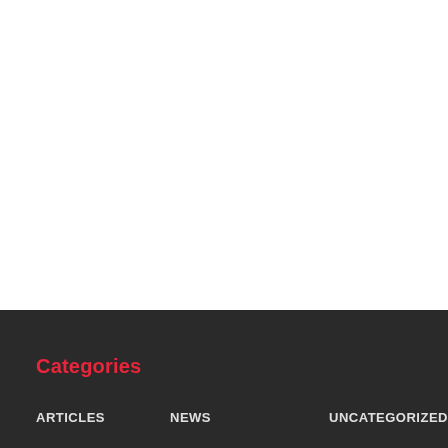Categories
ARTICLES
NEWS
Uncategorized